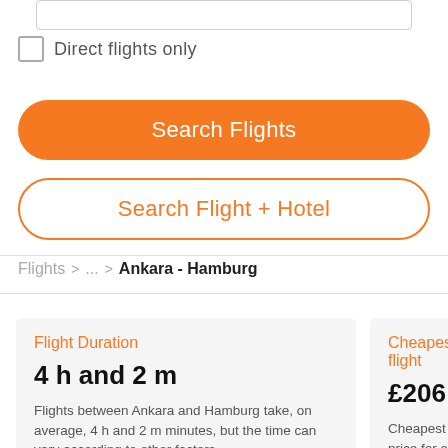Direct flights only
Search Flights
Search Flight + Hotel
Flights > ... > Ankara - Hamburg
Flight Duration
4 h and 2 m
Flights between Ankara and Hamburg take, on average, 4 h and 2 m minutes, but the time can vary according to other factors
Cheapest flight
£206
Cheapest price for a retu... Ankara with Hamburg fou... customers in the last 72 h